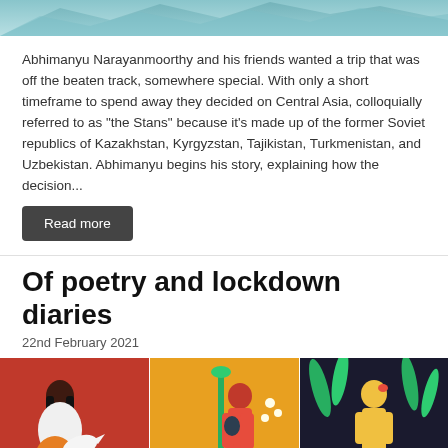[Figure (photo): Partial top image showing a mountain/landscape scene with teal/blue tones, cropped at the top of the page]
Abhimanyu Narayanmoorthy and his friends wanted a trip that was off the beaten track, somewhere special. With only a short timeframe to spend away they decided on Central Asia, colloquially referred to as "the Stans" because it's made up of the former Soviet republics of Kazakhstan, Kyrgyzstan, Tajikistan, Turkmenistan, and Uzbekistan. Abhimanyu begins his story, explaining how the decision...
Read more
Of poetry and lockdown diaries
22nd February 2021
[Figure (illustration): Three illustrated panels side by side showing stylized human figures: left panel on red background with a woman with long dark hair, center panel on yellow/gold background with a figure holding an object near a green lamp post, right panel on dark background with a yellow/nude figure among green leafy plants.]